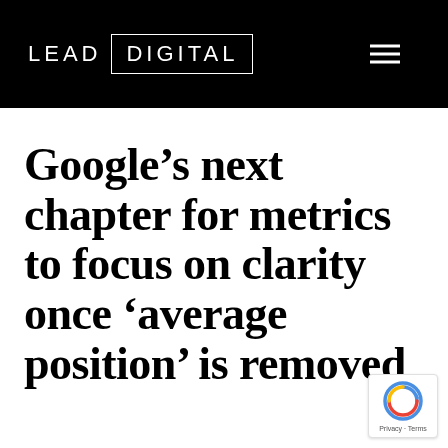LEAD DIGITAL
Google’s next chapter for metrics to focus on clarity once ‘average position’ is removed
[Figure (logo): reCAPTCHA badge with circular arrow icon and Privacy · Terms text]